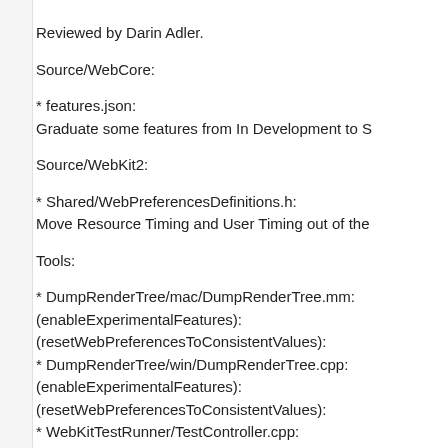Reviewed by Darin Adler.
Source/WebCore:
* features.json:
Graduate some features from In Development to S
Source/WebKit2:
* Shared/WebPreferencesDefinitions.h:
Move Resource Timing and User Timing out of the
Tools:
* DumpRenderTree/mac/DumpRenderTree.mm:
(enableExperimentalFeatures):
(resetWebPreferencesToConsistentValues):
* DumpRenderTree/win/DumpRenderTree.cpp:
(enableExperimentalFeatures):
(resetWebPreferencesToConsistentValues):
* WebKitTestRunner/TestController.cpp:
(WTR::TestController::resetPreferencesToConsiste
Move out no longer experimental features to the m
Websites/webkit.org:
* experimental-features.html:
Remove no longer experimental features.